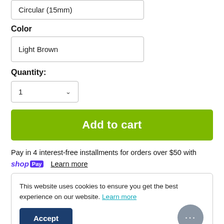Circular (15mm)
Color
Light Brown
Quantity:
1
Add to cart
Pay in 4 interest-free installments for orders over $50 with
shop Pay  Learn more
This website uses cookies to ensure you get the best experience on our website. Learn more
Accept
Free shipping on US orders over $99!